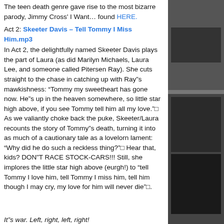The teen death genre gave rise to the most bizarre parody, Jimmy Cross' I Want… found HERE.
Act 2: Skeeter Davis – Tell Tommy I Miss Him.mp3
In Act 2, the delightfully named Skeeter Davis plays the part of Laura (as did Marilyn Michaels, Laura Lee, and someone called Pitersen Ray). She cuts straight to the chase in catching up with Ray"s mawkishness: "Tommy my sweetheart has gone now. He"s up in the heaven somewhere, so little star high above, if you see Tommy tell him all my love."□ As we valiantly choke back the puke, Skeeter/Laura recounts the story of Tommy"s death, turning it into as much of a cautionary tale as a lovelorn lament: "Why did he do such a reckless thing?"□ Hear that, kids? DON"T RACE STOCK-CARS!!! Still, she implores the little star high above (eurgh!) to "tell Tommy I love him, tell Tommy I miss him, tell him though I may cry, my love for him will never die"□.
It"s war. Left, right, left, right!
Act 1: Barry McGuire – Eve Of Destruction.mp3
This song will turn up again on this blog. In this context, we concern ourselves with McGuire"s righteous anger about the "exploding"□ "eastern world"□ and civil rights and, well, everything. It"s 1965, and Barry"s "blood"s so mad, feels like coagulating"□ because people who are too young to vote are old enough to kill, and the war-mongers don"t want to believe that we"re "on the eve of destruction"□. Four decades later, so little has changed that Nobel Peace Prizes are awarded to a US president for saying peaceful…
[Figure (photo): Side column with dark photos/images on the right side of the page]